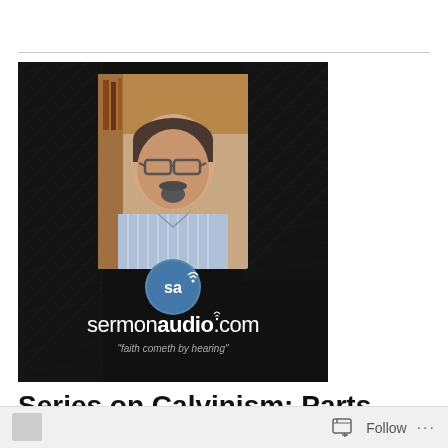[Figure (screenshot): SermonAudio.com podcast thumbnail showing a middle-aged man with glasses and a goatee wearing a striped shirt, on a dark background with the SermonAudio logo and tagline 'faith cometh by hearing']
Series on Calvinism: Parts 10
Follow ···